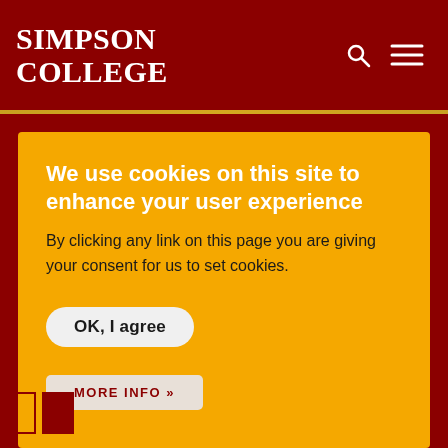SIMPSON COLLEGE
We use cookies on this site to enhance your user experience
By clicking any link on this page you are giving your consent for us to set cookies.
OK, I agree
MORE INFO »